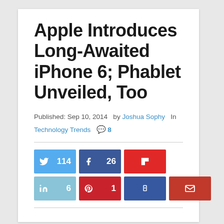Apple Introduces Long-Awaited iPhone 6; Phablet Unveiled, Too
Published: Sep 10, 2014  by Joshua Sophy  In Technology Trends  🐾 8
[Figure (infographic): Social share buttons: Twitter (114), Facebook (26), Flipboard (icon), LinkedIn (6), Pinterest (1), Bookmark (icon), Email (icon)]